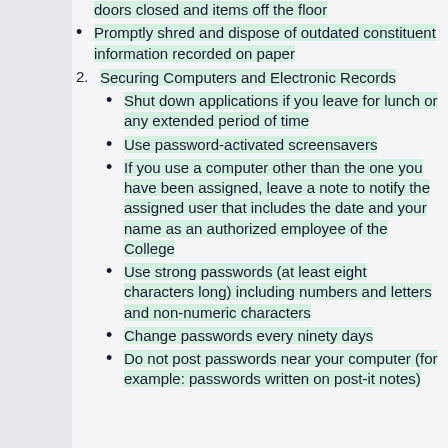doors closed and items off the floor
Promptly shred and dispose of outdated constituent information recorded on paper
Securing Computers and Electronic Records
Shut down applications if you leave for lunch or any extended period of time
Use password-activated screensavers
If you use a computer other than the one you have been assigned, leave a note to notify the assigned user that includes the date and your name as an authorized employee of the College
Use strong passwords (at least eight characters long) including numbers and letters and non-numeric characters
Change passwords every ninety days
Do not post passwords near your computer (for example: passwords written on post-it notes)